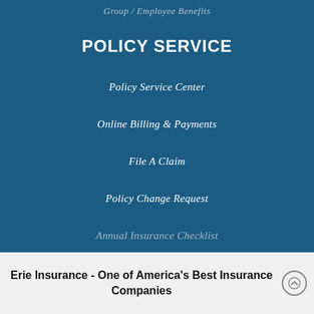Group / Employee Benefits
POLICY SERVICE
Policy Service Center
Online Billing & Payments
File A Claim
Policy Change Request
Annual Insurance Checklist
Erie Insurance - One of America's Best Insurance Companies